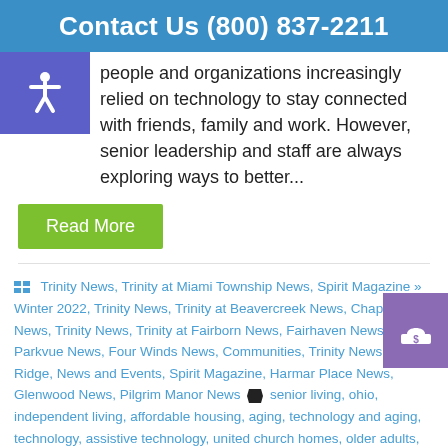Contact Us (800) 837-2211
people and organizations increasingly relied on technology to stay connected with friends, family and work. However, senior leadership and staff are always exploring ways to better...
Read More
Trinity News, Trinity at Miami Township News, Spirit Magazine » Winter 2022, Trinity News, Trinity at Beavercreek News, Chapel Hill News, Trinity News, Trinity at Fairborn News, Fairhaven News, Parkvue News, Four Winds News, Communities, Trinity News, Patriot Ridge, News and Events, Spirit Magazine, Harmar Place News, Glenwood News, Pilgrim Manor News  senior living, ohio, independent living, affordable housing, aging, technology and aging, technology, assistive technology, united church homes, older adults, ellio, resident engagement